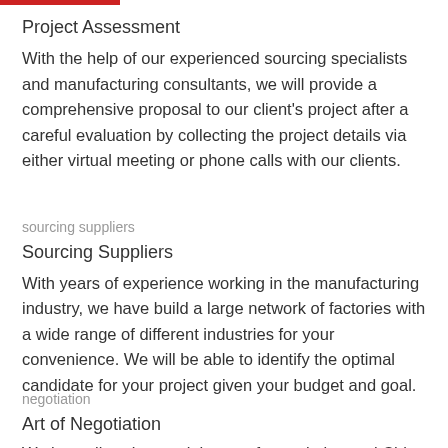Project Assessment
With the help of our experienced sourcing specialists and manufacturing consultants, we will provide a comprehensive proposal to our client's project after a careful evaluation by collecting the project details via either virtual meeting or phone calls with our clients.
sourcing suppliers
Sourcing Suppliers
With years of experience working in the manufacturing industry, we have build a large network of factories with a wide range of different industries for your convenience. We will be able to identify the optimal candidate for your project given your budget and goal.
negotiation
Art of Negotiation
We be well-understand the art of negotiation and China...